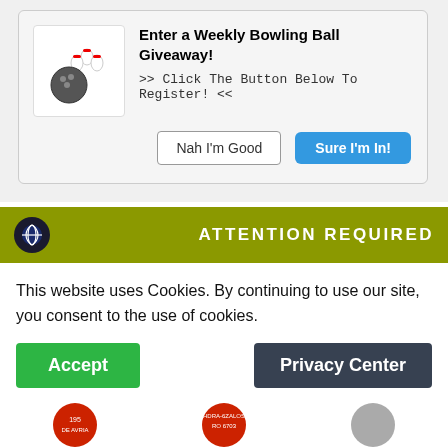[Figure (screenshot): Bowling ball giveaway popup with bowling ball and pins icon, title 'Enter a Weekly Bowling Ball Giveaway!', subtitle '>> Click The Button Below To Register! <<', and two buttons: 'Nah I'm Good' and 'Sure I'm In!']
CRAFTSMAN Magnetic Sweeper (CMMT98276)
$15.98 ✓prime ★★★★★ (163)
CRAFTSMAN Mechanics Tool Set, SAE / Metric, 189-Piece (...
$219.00 ✓prime ★★★★★ (379)
Ads by Amazon
[Figure (screenshot): Cookie consent banner with olive/yellow header showing globe icon and 'ATTENTION REQUIRED' text, white body with cookie notice text, and Accept and Privacy Center buttons]
This website uses Cookies. By continuing to use our site, you consent to the use of cookies.